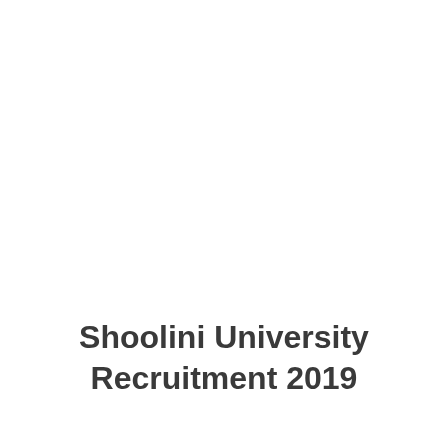Shoolini University Recruitment 2019